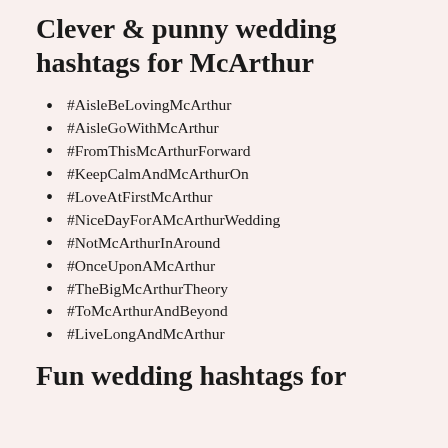Clever & punny wedding hashtags for McArthur
#AisleBeLovingMcArthur
#AisleGoWithMcArthur
#FromThisMcArthurForward
#KeepCalmAndMcArthurOn
#LoveAtFirstMcArthur
#NiceDayForAMcArthurWedding
#NotMcArthurInAround
#OnceUponAMcArthur
#TheBigMcArthurTheory
#ToMcArthurAndBeyond
#LiveLongAndMcArthur
Fun wedding hashtags for